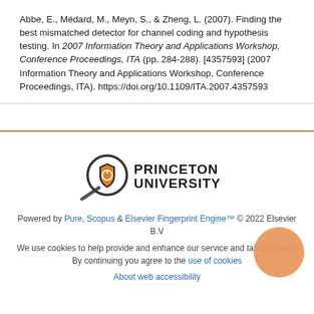Abbe, E., Médard, M., Meyn, S., & Zheng, L. (2007). Finding the best mismatched detector for channel coding and hypothesis testing. In 2007 Information Theory and Applications Workshop, Conference Proceedings, ITA (pp. 284-288). [4357593] (2007 Information Theory and Applications Workshop, Conference Proceedings, ITA). https://doi.org/10.1109/ITA.2007.4357593
[Figure (logo): Princeton University logo with magnifying glass icon and shield, text reading PRINCETON UNIVERSITY]
Powered by Pure, Scopus & Elsevier Fingerprint Engine™ © 2022 Elsevier B.V
We use cookies to help provide and enhance our service and tailor content. By continuing you agree to the use of cookies
About web accessibility